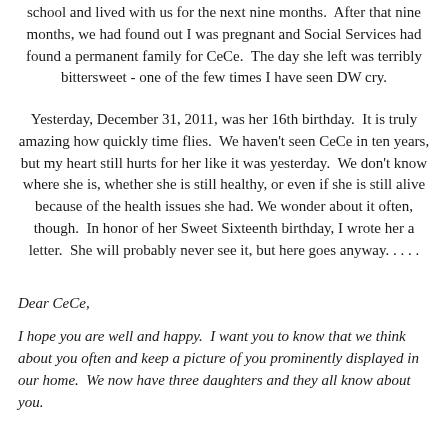school and lived with us for the next nine months.  After that nine months, we had found out I was pregnant and Social Services had found a permanent family for CeCe.  The day she left was terribly bittersweet - one of the few times I have seen DW cry.
Yesterday, December 31, 2011, was her 16th birthday.  It is truly amazing how quickly time flies.  We haven't seen CeCe in ten years, but my heart still hurts for her like it was yesterday.  We don't know where she is, whether she is still healthy, or even if she is still alive because of the health issues she had. We wonder about it often, though.  In honor of her Sweet Sixteenth birthday, I wrote her a letter.  She will probably never see it, but here goes anyway. . . . .
Dear CeCe,
I hope you are well and happy.  I want you to know that we think about you often and keep a picture of you prominently displayed in our home.  We now have three daughters and they all know about you.